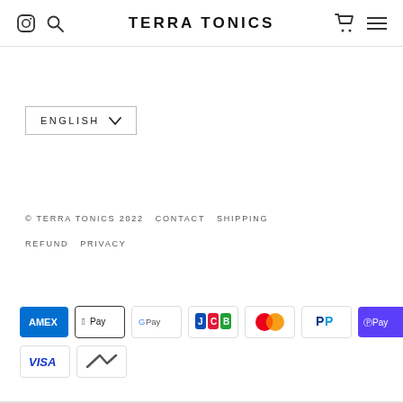TERRA TONICS
ENGLISH
© TERRA TONICS 2022   CONTACT   SHIPPING   REFUND   PRIVACY
[Figure (other): Payment method icons: American Express, Apple Pay, Google Pay, JCB, Mastercard, PayPal, Shop Pay, Visa, generic card]